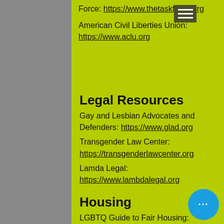Force: https://www.thetaskforce.org
American Civil Liberties Union: https://www.aclu.org
Legal Resources
Gay and Lesbian Advocates and Defenders: https://www.glad.org
Transgender Law Center: https://transgenderlawcenter.org
Lamda Legal: https://www.lambdalegal.org
Housing
LGBTQ Guide to Fair Housing: https://www.reviews.com/g/lgbtq-fair-housing/